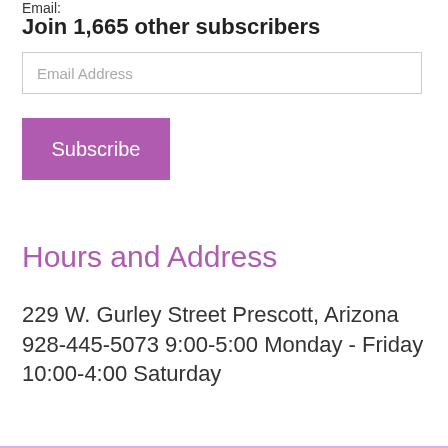Email:
Join 1,665 other subscribers
Email Address
Subscribe
Hours and Address
229 W. Gurley Street Prescott, Arizona 928-445-5073 9:00-5:00 Monday - Friday 10:00-4:00 Saturday